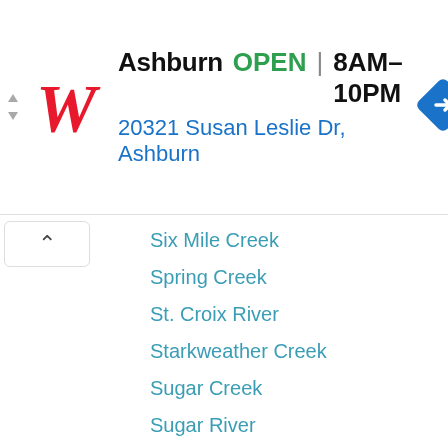[Figure (infographic): Walgreens advertisement banner showing store location in Ashburn, open 8AM-10PM, address 20321 Susan Leslie Dr, Ashburn, with a directions icon]
Six Mile Creek
Spring Creek
St. Croix River
Starkweather Creek
Sugar Creek
Sugar River
Sugar River: West Branch
Token Creek
Tomorrow River
Trappe River